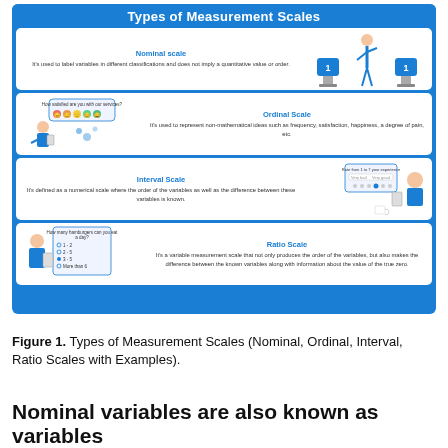[Figure (infographic): Types of Measurement Scales infographic on blue background with four white cards: (1) Nominal scale - labeled variables with boxes illustration; (2) Ordinal Scale - satisfaction survey with emoji faces; (3) Interval Scale - rating experience on phone; (4) Ratio Scale - hamburger survey with radio buttons.]
Figure 1. Types of Measurement Scales (Nominal, Ordinal, Interval, Ratio Scales with Examples).
Nominal variables are also known as variables